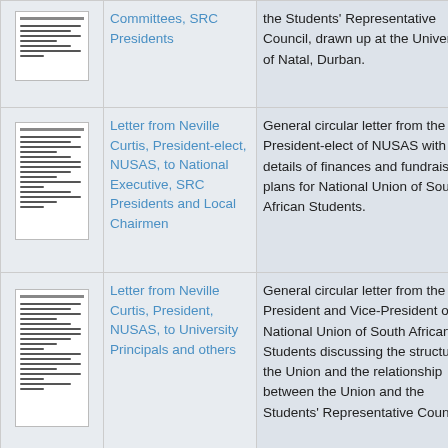| Image | Title | Description |
| --- | --- | --- |
| [thumbnail] | Committees, SRC Presidents | the Students' Representative Council, drawn up at the University of Natal, Durban. |
| [thumbnail] | Letter from Neville Curtis, President-elect, NUSAS, to National Executive, SRC Presidents and Local Chairmen | General circular letter from the President-elect of NUSAS with details of finances and fundraising plans for National Union of South African Students. |
| [thumbnail] | Letter from Neville Curtis, President, NUSAS, to University Principals and others | General circular letter from the President and Vice-President of the National Union of South African Students discussing the structure of the Union and the relationship between the Union and the Students' Representative Councils. |
| [thumbnail] | Letter from Neville | General circular letter from the |